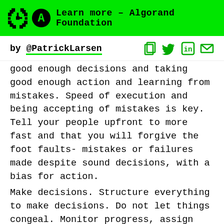Learn more – Algorand Foundation
by @PatrickLarsen
good enough decisions and taking good enough action and learning from mistakes. Speed of execution and being accepting of mistakes is key. Tell your people upfront to more fast and that you will forgive the foot faults- mistakes or failures made despite sound decisions, with a bias for action.
Make decisions. Structure everything to make decisions. Do not let things congeal. Monitor progress, assign owners. Process over results. Design a business process that forces decisions and action and learning and embracing mistakes.
In a small company, being nimble is the asset you have. Use it.